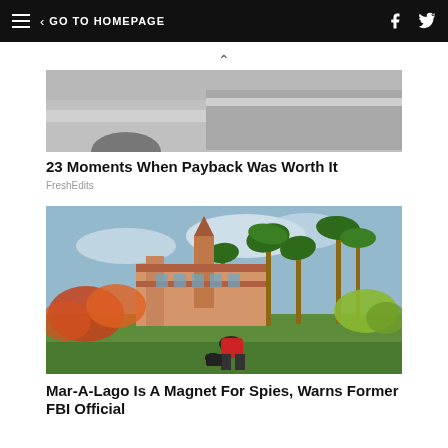GO TO HOMEPAGE
[Figure (photo): Partial view of a car door, grayscale, cropped]
23 Moments When Payback Was Worth It
FreshEdits
[Figure (photo): Mar-A-Lago estate exterior with palm trees and lush tropical vegetation; a worker in a red shirt bends over in the foreground]
Mar-A-Lago Is A Magnet For Spies, Warns Former FBI Official